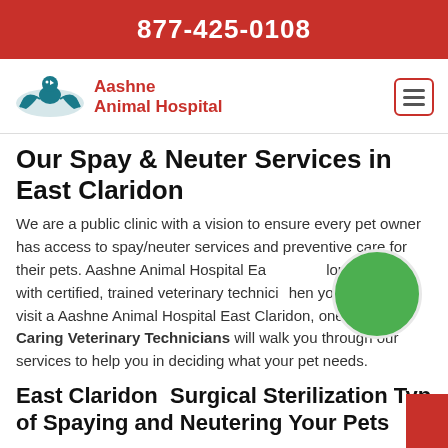877-425-0108
[Figure (logo): Aashne Animal Hospital logo with teal bird/hands icon and red text, plus a hamburger menu button on the right]
Our Spay & Neuter Services in East Claridon
We are a public clinic with a vision to ensure every pet owner has access to spay/neuter services and preventive care for their pets. Aashne Animal Hospital East Claridon is staffed with certified, trained veterinary technicians. When you contact or visit a Aashne Animal Hospital East Claridon, one of our Caring Veterinary Technicians will walk you through our services to help you in deciding what your pet needs.
East Claridon  Surgical Sterilization Types of Spaying and Neutering Your Pets